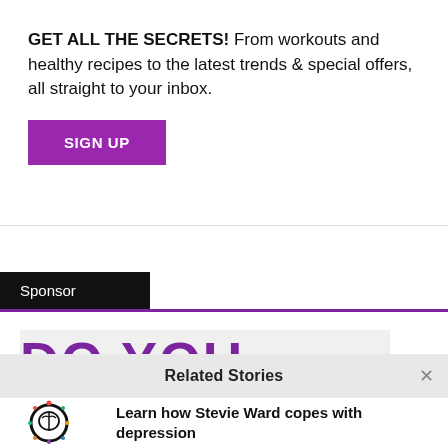GET ALL THE SECRETS! From workouts and healthy recipes to the latest trends & special offers, all straight to your inbox.
SIGN UP
Sponsor
[Figure (other): Sponsor advertisement banner showing large purple bold text 'DO YOU HAVE' on a light grey background]
Related Stories
[Figure (logo): It's Good To Talk logo — a circular brain icon with colorful dots around it and text below]
Learn how Stevie Ward copes with depression